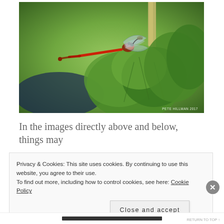[Figure (photo): Close-up photograph of a red damselfly (dragonfly) perched on green plant leaves with bokeh background, watermark reading PETE HILLMAN 2017 in bottom right corner]
In the images directly above and below, things may
Privacy & Cookies: This site uses cookies. By continuing to use this website, you agree to their use.
To find out more, including how to control cookies, see here: Cookie Policy
Close and accept